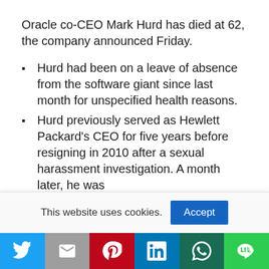Oracle co-CEO Mark Hurd has died at 62, the company announced Friday.
Hurd had been on a leave of absence from the software giant since last month for unspecified health reasons.
Hurd previously served as Hewlett Packard's CEO for five years before resigning in 2010 after a sexual harassment investigation. A month later, he was
This website uses cookies.
[Figure (infographic): Cookie consent bar with Accept button and social share buttons (Twitter, Gmail, Pinterest, LinkedIn, WhatsApp, Line)]